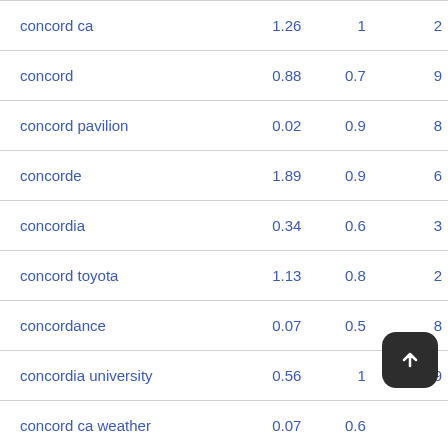| keyword | col2 | col3 | col4 |
| --- | --- | --- | --- |
| concord ca | 1.26 | 1 | 2 |
| concord | 0.88 | 0.7 | 9 |
| concord pavilion | 0.02 | 0.9 | 8 |
| concorde | 1.89 | 0.9 | 6 |
| concordia | 0.34 | 0.6 | 3 |
| concord toyota | 1.13 | 0.8 | 2 |
| concordance | 0.07 | 0.5 | 8 |
| concordia university | 0.56 | 1 | 9 |
| concord ca weather | 0.07 | 0.6 |  |